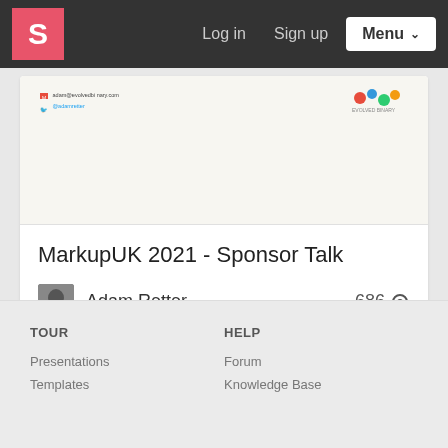S  Log in  Sign up  Menu
[Figure (screenshot): Slide preview showing email and twitter contact info with a colorful logo on the right]
MarkupUK 2021 - Sponsor Talk
Adam Retter  686 views
TOUR
Presentations
Templates
HELP
Forum
Knowledge Base